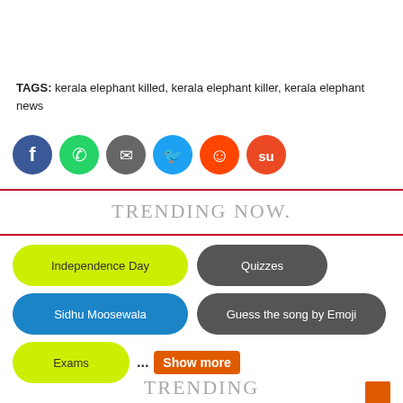TAGS: kerala elephant killed, kerala elephant killer, kerala elephant news
[Figure (infographic): Row of social share buttons: Facebook (blue), WhatsApp (green), Email (gray), Twitter (blue), Reddit (orange-red), StumbleUpon (red-orange)]
TRENDING NOW.
Independence Day
Quizzes
Sidhu Moosewala
Guess the song by Emoji
Exams
... Show more